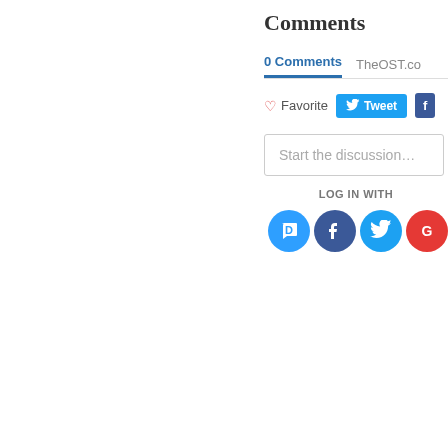Comments
0 Comments   TheOST.co
Favorite   Tweet   f
Start the discussion...
LOG IN WITH
[Figure (screenshot): Social login icons: Disqus (blue speech bubble with D), Facebook (dark blue circle with f), Twitter (light blue circle with bird), Google (red circle partially visible)]
Subscribe   Add Disq